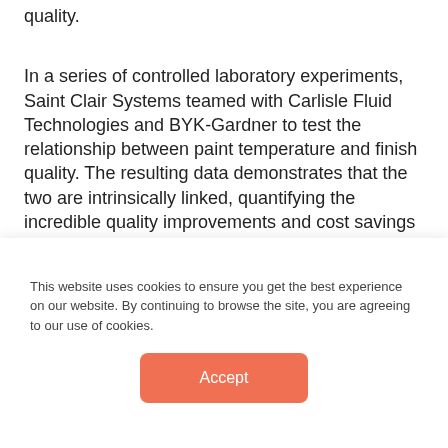quality.
In a series of controlled laboratory experiments, Saint Clair Systems teamed with Carlisle Fluid Technologies and BYK-Gardner to test the relationship between paint temperature and finish quality. The resulting data demonstrates that the two are intrinsically linked, quantifying the incredible quality improvements and cost savings that temperature control can provide for automotive paint finishers.
This comprehensive study is a first for the paint
This website uses cookies to ensure you get the best experience on our website. By continuing to browse the site, you are agreeing to our use of cookies.
Accept